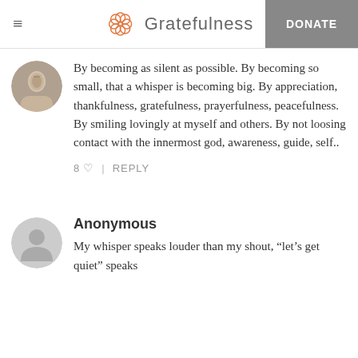Gratefulness | DONATE
By becoming as silent as possible. By becoming so small, that a whisper is becoming big. By appreciation, thankfulness, gratefulness, prayerfulness, peacefulness. By smiling lovingly at myself and others. By not loosing contact with the innermost god, awareness, guide, self..
8 ♡  |  REPLY
Anonymous
My whisper speaks louder than my shout, "let's get quiet" speaks